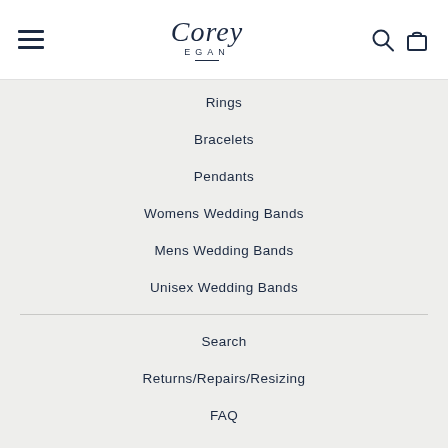[Figure (logo): Corey Egan script logo with hamburger menu icon on left and search/cart icons on right]
Rings
Bracelets
Pendants
Womens Wedding Bands
Mens Wedding Bands
Unisex Wedding Bands
Search
Returns/Repairs/Resizing
FAQ
Environmental Policy